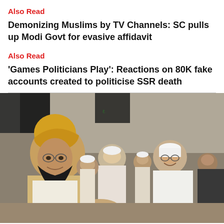Also Read
Demonizing Muslims by TV Channels: SC pulls up Modi Govt for evasive affidavit
Also Read
'Games Politicians Play': Reactions on 80K fake accounts created to politicise SSR death
[Figure (photo): A man wearing a yellow turban and beige robe shaking hands with another man in white kurta and white cap, with a crowd of men in white caps and a black flag in the background.]